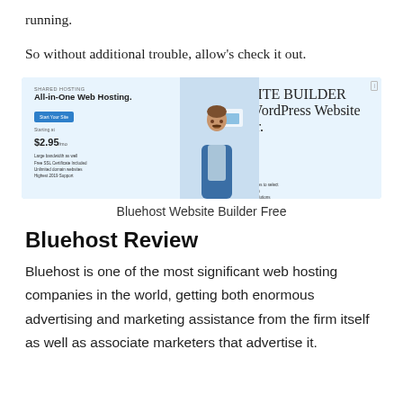running.
So without additional trouble, allow’s check it out.
[Figure (screenshot): Bluehost website advertisement showing two panels: left panel with 'All-in-One Web Hosting.' headline, blue CTA button, pricing starting at $2.95/mo; right panel with 'Easy WordPress Website Builder.' headline, blue Start Building button, pricing $2.95/mo, and features list. Center shows photo of a man in a blue jacket.]
Bluehost Website Builder Free
Bluehost Review
Bluehost is one of the most significant web hosting companies in the world, getting both enormous advertising and marketing assistance from the firm itself as well as associate marketers that advertise it.